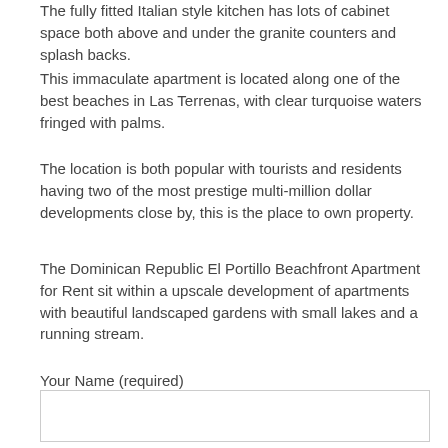The fully fitted Italian style kitchen has lots of cabinet space both above and under the granite counters and splash backs.
This immaculate apartment is located along one of the best beaches in Las Terrenas, with clear turquoise waters fringed with palms.
The location is both popular with tourists and residents having two of the most prestige multi-million dollar developments close by, this is the place to own property.
The Dominican Republic El Portillo Beachfront Apartment for Rent sit within a upscale development of apartments with beautiful landscaped gardens with small lakes and a running stream.
Your Name (required)
Your Email (required)